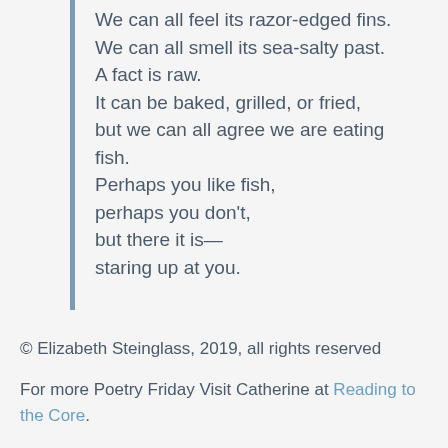We can all feel its razor-edged fins.
We can all smell its sea-salty past.
A fact is raw.
It can be baked, grilled, or fried,
but we can all agree we are eating fish.
Perhaps you like fish,
perhaps you don't,
but there it is—
staring up at you.
© Elizabeth Steinglass, 2019, all rights reserved
For more Poetry Friday Visit Catherine at Reading to the Core.